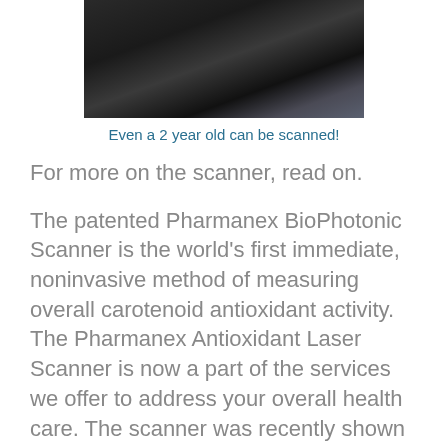[Figure (photo): Dark photograph of a young child (2 year old) being scanned with the Pharmanex BioPhotonic Scanner]
Even a 2 year old can be scanned!
For more on the scanner, read on.

The patented Pharmanex BioPhotonic Scanner is the world's first immediate, noin vasive method of measuring overall carotenoid antioxidant activity. The Pharmanex Antioxidant Laser Scanner is now a part of the services we offer to address your overall health care. The scanner was recently shown on Dr. Oz. It is becoming clear that